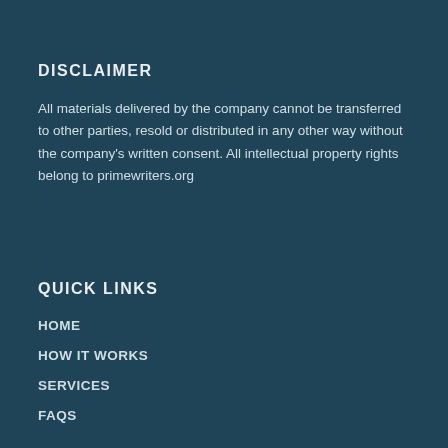DISCLAIMER
All materials delivered by the company cannot be transferred to other parties, resold or distributed in any other way without the company's written consent. All intellectual property rights belong to primewriters.org
QUICK LINKS
HOME
HOW IT WORKS
SERVICES
FAQS